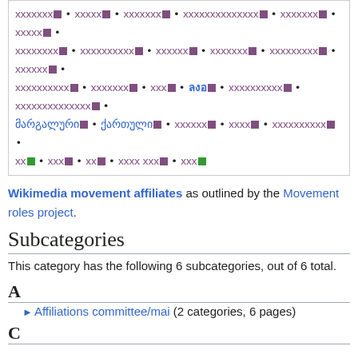[Figure (other): Wikimedia language links box with various scripts and language names in blue/purple with small colored square icons, separated by bullet points]
Wikimedia movement affiliates as outlined by the Movement roles project.
Subcategories
This category has the following 6 subcategories, out of 6 total.
A
► Affiliations committee/mai (2 categories, 6 pages)
C